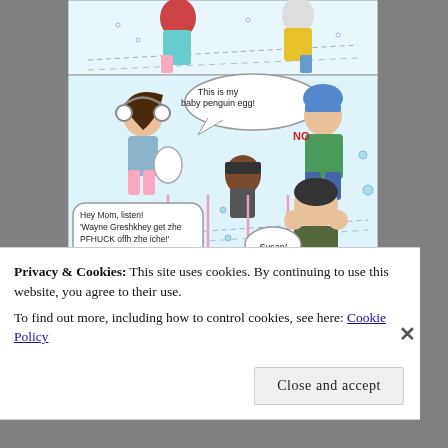[Figure (illustration): A hand-drawn comic strip showing children playing in snow. Panel 1 (top): Children in winter clothes. Panel 2 (middle-top): A girl with headphones holding an egg says 'This is my baby penguin egg!' A boy responds 'NO'. Panel 3 (middle): A character says 'Hey Mom, listen! Wayne Greshkhey get zhe PFHUCK offh zhe iche!' Someone yells 'Susan!' Panel 4 (bottom): A small character says 'Momma had a baby..' and text reads 'and her HEAD']
Privacy & Cookies: This site uses cookies. By continuing to use this website, you agree to their use.
To find out more, including how to control cookies, see here: Cookie Policy
Close and accept